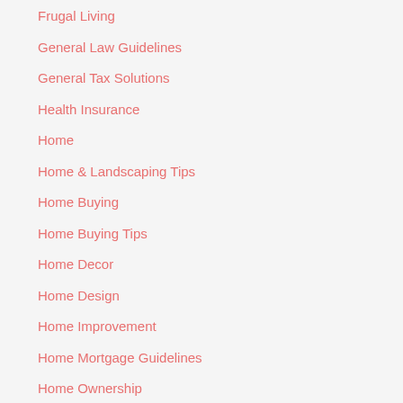Frugal Living
General Law Guidelines
General Tax Solutions
Health Insurance
Home
Home & Landscaping Tips
Home Buying
Home Buying Tips
Home Decor
Home Design
Home Improvement
Home Mortgage Guidelines
Home Ownership
Home Repair